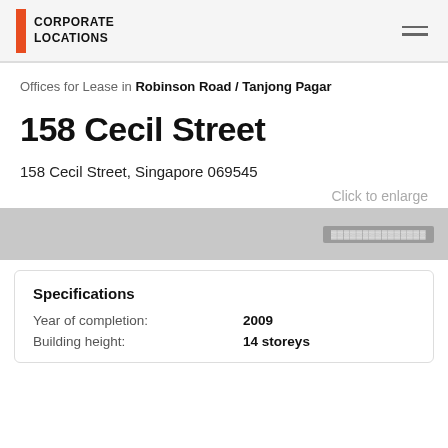CORPORATE LOCATIONS
Offices for Lease in Robinson Road / Tanjong Pagar
158 Cecil Street
158 Cecil Street, Singapore 069545
Click to enlarge
[Figure (photo): Partial view of building exterior, greyed out image placeholder]
Specifications
|  |  |
| --- | --- |
| Year of completion: | 2009 |
| Building height: | 14 storeys |